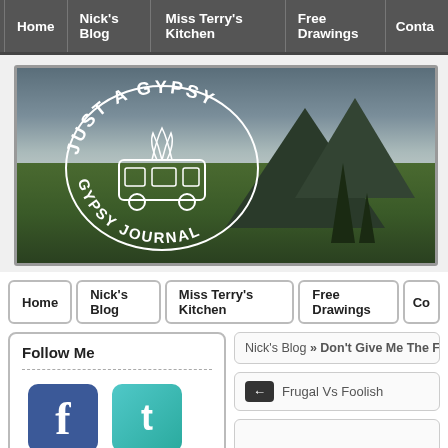Home | Nick's Blog | Miss Terry's Kitchen | Free Drawings | Conta
[Figure (screenshot): Just A Gypsy Journal banner logo with mountain landscape background]
Home | Nick's Blog | Miss Terry's Kitchen | Free Drawings | Co
Follow Me
[Figure (logo): Facebook and Twitter social media icons]
Nick's Blog » Don't Give Me The Fing
← Frugal Vs Foolish